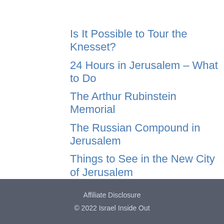Is It Possible to Tour the Knesset?
24 Hours in Jerusalem – What to Do
The Arthur Rubinstein Memorial
The Russian Compound in Jerusalem
Things to See in the New City of Jerusalem
Affiliate Disclosure
© 2022 Israel Inside Out